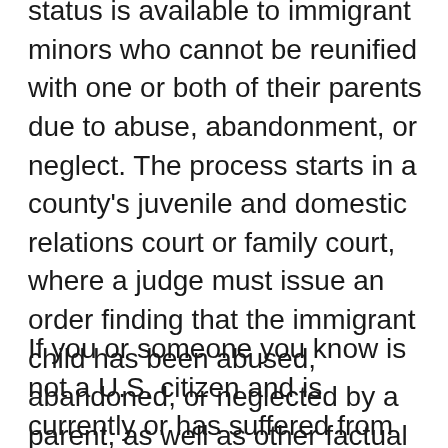status is available to immigrant minors who cannot be reunified with one or both of their parents due to abuse, abandonment, or neglect. The process starts in a county's juvenile and domestic relations court or family court, where a judge must issue an order finding that the immigrant child has been abused, abandoned, or neglected by a parent, as well as other factual findings. Often, this will be part of a custody order, and sometimes the non-abusive parent or another guardian will receive full custody. After receiving this order, the minor must apply for SIJS with immigration, and after this application is approved, he or she must wait for their visa to become available and remain unmarried. When their priority date is current, Special Immigrant Juveniles can apply for their green card.
If you or someone you know is not a U.S. citizen and is currently or has suffered from abuse, the number one thing is your or their safety. No one should put up with abuse, and your abuser should not use your immigration